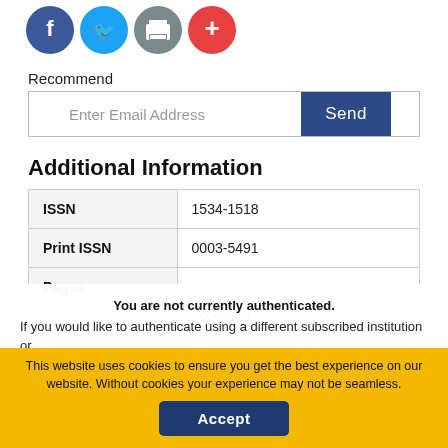[Figure (illustration): Four social media icon circles: Facebook (blue), Twitter (light blue), Print (grey), Plus/Share (red)]
Recommend
Enter Email Address  Send
Additional Information
| ISSN | 1534-1518 |
| Print ISSN | 0003-5491 |
| Pages |  |
collapse
You are not currently authenticated. If you would like to authenticate using a different subscribed institution or
This website uses cookies to ensure you get the best experience on our website. Without cookies your experience may not be seamless.
Accept